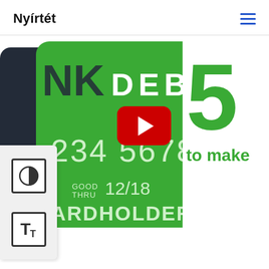Nyírtét
[Figure (screenshot): Screenshot of a webpage showing a debit card thumbnail with YouTube play button overlay, accessibility widget on the left side, and a large green number '5' with text 'to make' on the right side.]